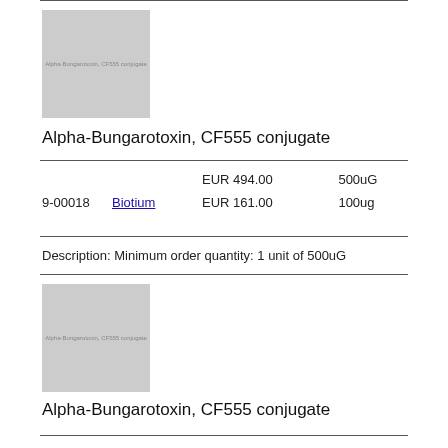[Figure (photo): Gray placeholder image for Alpha-Bungarotoxin, CF555 conjugate product (first listing)]
Alpha-Bungarotoxin, CF555 conjugate
| Cat# | Supplier | Price | Size |
| --- | --- | --- | --- |
|  |  | EUR 494.00 | 500uG |
| 9-00018 | Biotium | EUR 161.00 | 100ug |
Description: Minimum order quantity: 1 unit of 500uG
[Figure (photo): Gray placeholder image for Alpha-Bungarotoxin, CF555 conjugate product (second listing)]
Alpha-Bungarotoxin, CF555 conjugate